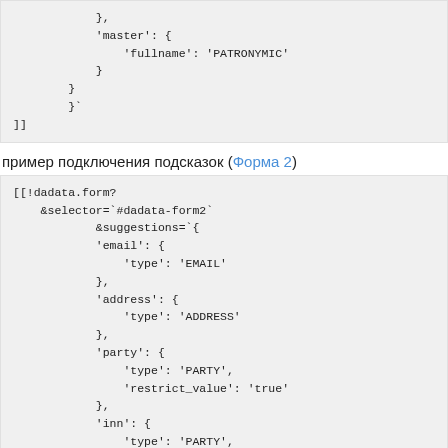},
            'master': {
                'fullname': 'PATRONYMIC'
            }
        }
        }`
]]
пример подключения подсказок (Форма 2)
[[!dadata.form?
    &selector=`#dadata-form2`
            &suggestions=`{
            'email': {
                'type': 'EMAIL'
            },
            'address': {
                'type': 'ADDRESS'
            },
            'party': {
                'type': 'PARTY',
                'restrict_value': 'true'
            },
            'inn': {
                'type': 'PARTY',
                'restrict_value': 'true'